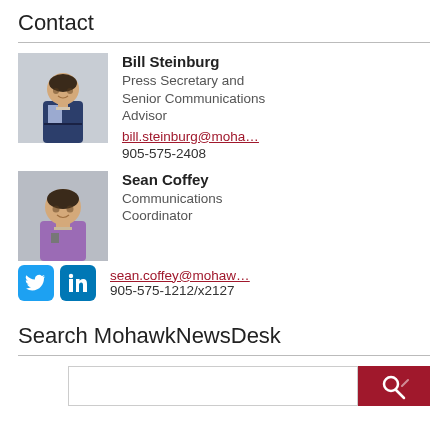Contact
Bill Steinburg
Press Secretary and Senior Communications Advisor
bill.steinburg@moha…
905-575-2408
Sean Coffey
Communications Coordinator
sean.coffey@mohaw…
905-575-1212/x2127
Search MohawkNewsDesk